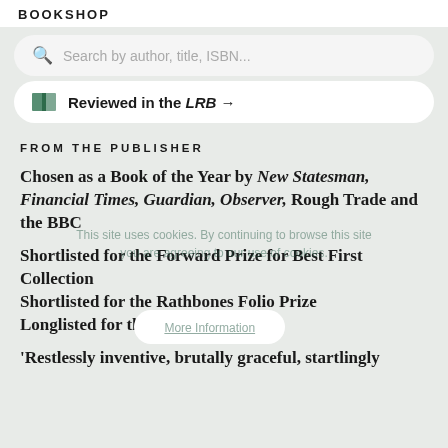BOOKSHOP
Search by author, title, ISBN...
Reviewed in the LRB →
FROM THE PUBLISHER
Chosen as a Book of the Year by New Statesman, Financial Times, Guardian, Observer, Rough Trade and the BBC
This site uses cookies. By continuing to browse this site you are agreeing to our use of cookies.
More Information
Shortlisted for the Forward Prize for Best First Collection
Shortlisted for the Rathbones Folio Prize
Longlisted for the Jhalak Prize
'Restlessly inventive, brutally graceful, startlingly